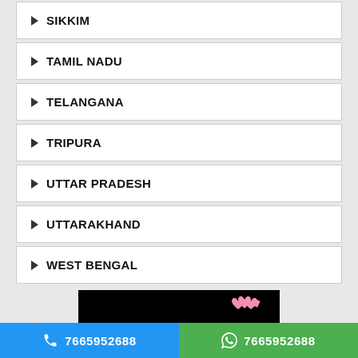SIKKIM
TAMIL NADU
TELANGANA
TRIPURA
UTTAR PRADESH
UTTARAKHAND
WEST BENGAL
[Figure (illustration): Black banner ad with pink hearts, text 'CLICK HERE TO POST ADS' on orange ribbon, and website URL at bottom]
7665952688  7665952688